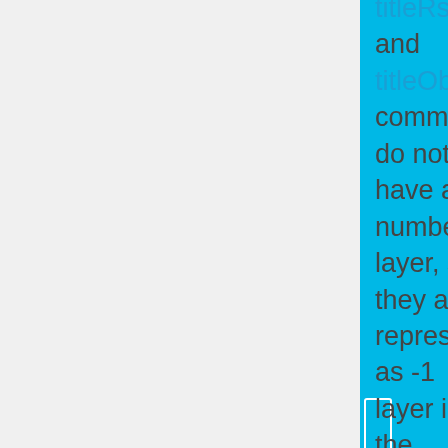titleRsc and titleObj commands do not have a numbered layer, so they are represented as -1 layer in the result. Effects created with cutText, cutRsc and cutObj…